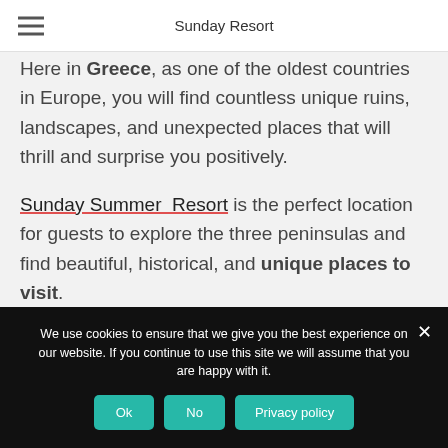Sunday Resort
Here in Greece, as one of the oldest countries in Europe, you will find countless unique ruins, landscapes, and unexpected places that will thrill and surprise you positively.
Sunday Summer Resort is the perfect location for guests to explore the three peninsulas and find beautiful, historical, and unique places to visit.
We use cookies to ensure that we give you the best experience on our website. If you continue to use this site we will assume that you are happy with it.